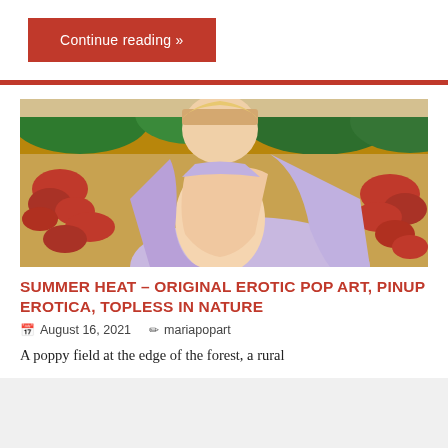Continue reading »
[Figure (illustration): Illustration of a woman in a poppy field with trees in the background, wearing a light purple open top, in an erotic pop art / pinup style]
SUMMER HEAT – ORIGINAL EROTIC POP ART, PINUP EROTICA, TOPLESS IN NATURE
August 16, 2021   mariapopart
A poppy field at the edge of the forest, a rural